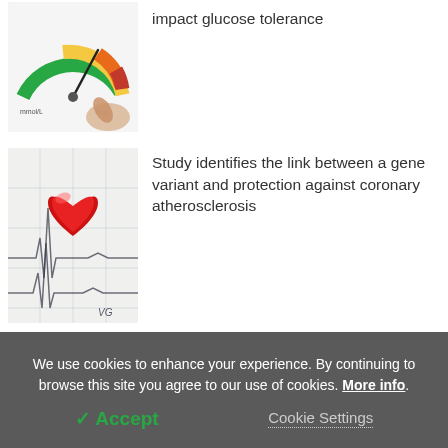[Figure (photo): Gauge meter / blood sugar reading illustration with a hand pointing at a colorful dial]
impact glucose tolerance
[Figure (photo): Red heart shape on an ECG/EKG readout paper background]
Study identifies the link between a gene variant and protection against coronary atherosclerosis
Latest Life Science News
Reservoir ensures sustainable use of
We use cookies to enhance your experience. By continuing to browse this site you agree to our use of cookies. More info.
✓ Accept
Cookie Settings